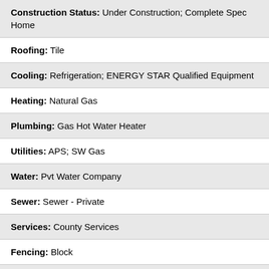Construction Status: Under Construction; Complete Spec Home
Roofing: Tile
Cooling: Refrigeration; ENERGY STAR Qualified Equipment
Heating: Natural Gas
Plumbing: Gas Hot Water Heater
Utilities: APS; SW Gas
Water: Pvt Water Company
Sewer: Sewer - Private
Services: County Services
Fencing: Block
Property Description: Mountain View(s)
Landscaping: Dirt Back; Desert Front; Yrd Wtring Sys